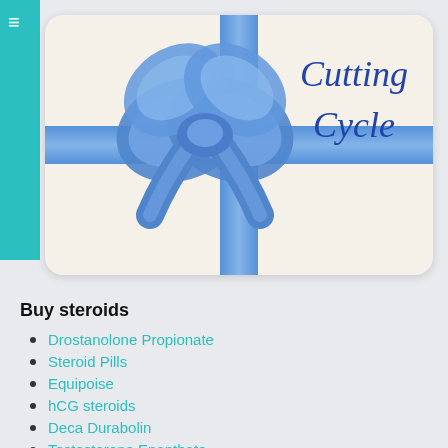[Figure (illustration): Gift card with a blue ribbon bow and cursive text 'Cutting Cycle' on a cream background]
Buy steroids
Drostanolone Propionate
Steroid Pills
Equipoise
hCG steroids
Deca Durabolin
Testosterone Enanthate